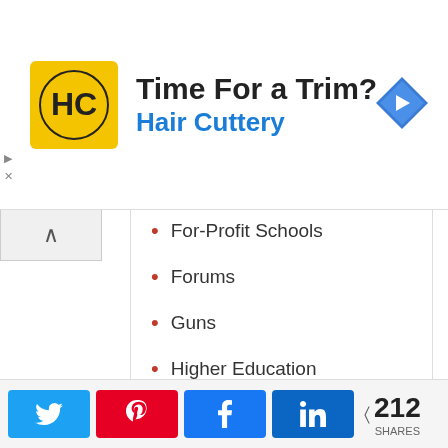[Figure (other): Hair Cuttery advertisement banner with logo, 'Time For a Trim?' heading, 'Hair Cuttery' subtitle in blue, and navigation arrow icon]
For-Profit Schools
Forums
Guns
Higher Education
Integration
Interviews
Joe Biden
Kevin Huffman
Knox County Schools
[Figure (other): Social sharing bar with Twitter, Pinterest, Facebook, LinkedIn buttons and 212 SHARES count]